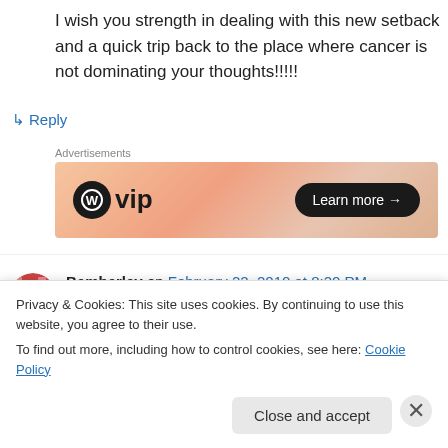I wish you strength in dealing with this new setback and a quick trip back to the place where cancer is not dominating your thoughts!!!!!
↳ Reply
Advertisements
[Figure (other): WordPress VIP advertisement banner with 'Learn more →' button]
Bemberley on February 22, 2010 at 8:20 PM
Privacy & Cookies: This site uses cookies. By continuing to use this website, you agree to their use.
To find out more, including how to control cookies, see here: Cookie Policy
Close and accept